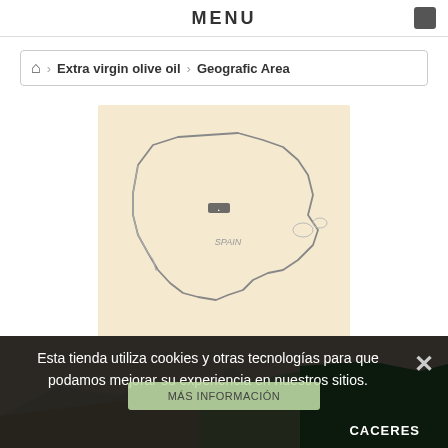MENU
🏠 > Extra virgin olive oil > Geografic Area
[Figure (map): Outline map of Spain with a marker indicating a location in the central region (Extremadura area). Beige/cream background with hand-drawn style border.]
Geografic Area
Geographic area , choose that part of our country want the oil.
Esta tienda utiliza cookies y otras tecnologías para que podamos mejorar su experiencia en nuestros sitios.
MÁS INFORMACIÓN
CACERES